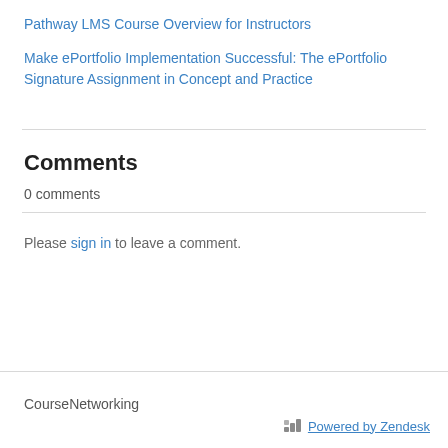Pathway LMS Course Overview for Instructors
Make ePortfolio Implementation Successful: The ePortfolio Signature Assignment in Concept and Practice
Comments
0 comments
Please sign in to leave a comment.
CourseNetworking
Powered by Zendesk